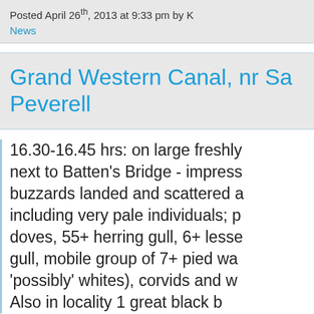Posted April 26th, 2013 at 9:33 pm by K
News
Grand Western Canal, nr Sa... Peverell
16.30-16.45 hrs: on large freshly next to Batten's Bridge - impress... buzzards landed and scattered a... including very pale individuals; p... doves, 55+ herring gull, 6+ lesse... gull, mobile group of 7+ pied wa... 'possibly' whites), corvids and w... Also in locality 1 great black b...